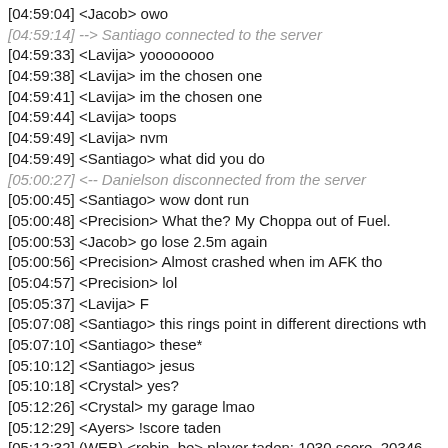[04:59:04] <Jacob> owo
[04:59:14] --> Santiago connected to the server
[04:59:33] <Lavija> yoooooooo
[04:59:38] <Lavija> im the chosen one
[04:59:41] <Lavija> im the chosen one
[04:59:44] <Lavija> toops
[04:59:49] <Lavija> nvm
[04:59:49] <Santiago> what did you do
[05:00:27] <-- Danielson disconnected from the server
[05:00:45] <Santiago> wow dont run
[05:00:48] <Precision> What the? My Choppa out of Fuel.
[05:00:53] <Jacob> go lose 2.5m again
[05:00:56] <Precision> Almost crashed when im AFK tho
[05:04:57] <Precision> lol
[05:05:37] <Lavija> F
[05:07:08] <Santiago> this rings point in different directions wth
[05:07:10] <Santiago> these*
[05:10:12] <Santiago> jesus
[05:10:18] <Crystal> yes?
[05:12:26] <Crystal> my garage lmao
[05:12:29] <Ayers> !score taden
[05:12:32] (WEB) <robin_be> player taden: 1030 score, 20346 missions: 49'/. rescue - 49'/. helicopter - 1'/. military
[05:12:32] <Santiago> this is really gay
[05:12:37] <Crystal> no u